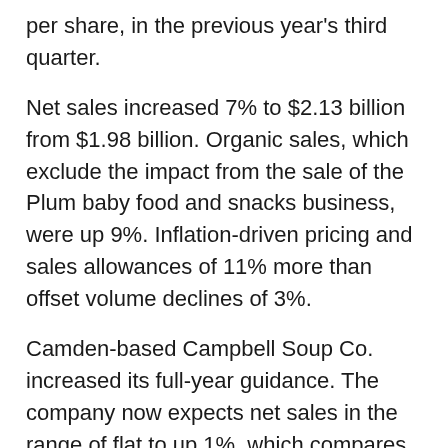per share, in the previous year's third quarter.
Net sales increased 7% to $2.13 billion from $1.98 billion. Organic sales, which exclude the impact from the sale of the Plum baby food and snacks business, were up 9%. Inflation-driven pricing and sales allowances of 11% more than offset volume declines of 3%.
Camden-based Campbell Soup Co. increased its full-year guidance. The company now expects net sales in the range of flat to up 1%, which compares with previous guidance in the range of down 2% to flat, and organic net sales to rise 1% to 2%, which compares with previous guidance in the range of down 1% to up 1%.
"Over the last several years, we've been navigating substantial headwinds, including the ongoing impact of COVID-19, labor and supply pressures, significant transformation and a rising level of inflation," Mr. Clouse said. "The team has done a great